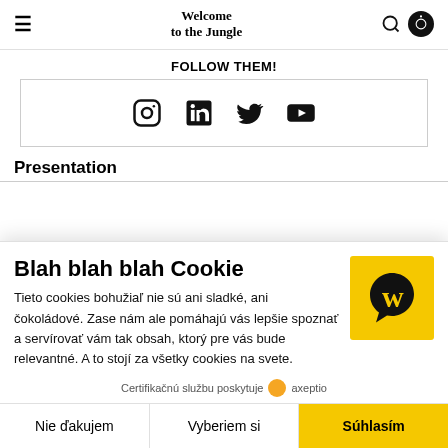Welcome to the Jungle
FOLLOW THEM!
[Figure (other): Social media icons: Instagram, LinkedIn, Twitter/X, YouTube inside a bordered box]
Presentation
Blah blah blah Cookie
Tieto cookies bohužiaľ nie sú ani sladké, ani čokoládové. Zase nám ale pomáhajú vás lepšie spoznať a servírovať vám tak obsah, ktorý pre vás bude relevantné. A to stojí za všetky cookies na svete.
Certifikačnú službu poskytuje axeptio
Nie ďakujem   Vyberiem si   Súhlasím